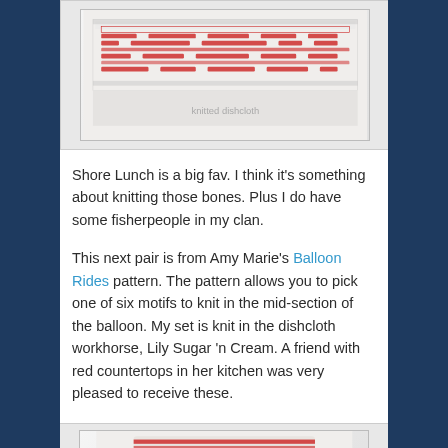[Figure (photo): A knitted dishcloth with a red pattern on white background, viewed from above on a light surface. The cloth shows a Shore Lunch pattern with red/white knitting design.]
Shore Lunch is a big fav. I think it's something about knitting those bones. Plus I do have some fisherpeople in my clan.
This next pair is from Amy Marie's Balloon Rides pattern. The pattern allows you to pick one of six motifs to knit in the mid-section of the balloon. My set is knit in the dishcloth workhorse, Lily Sugar 'n Cream. A friend with red countertops in her kitchen was very pleased to receive these.
[Figure (photo): A knitted dishcloth with a red and white balloon-themed pattern, showing the bottom portion of the cloth with red stripe design.]